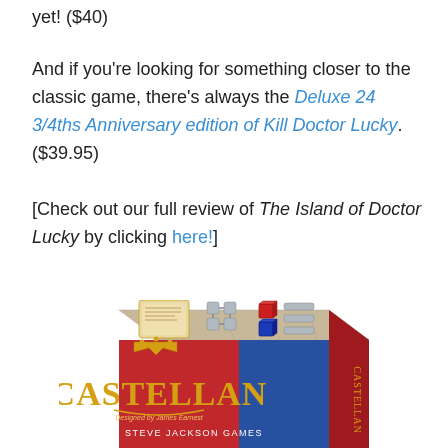yet! ($40)
And if you're looking for something closer to the classic game, there's always the Deluxe 24 3/4ths Anniversary edition of Kill Doctor Lucky. ($39.95)
[Check out our full review of The Island of Doctor Lucky by clicking here!]
[Figure (photo): Box of the Castellan board game by Steve Jackson Games, showing the game box with a medieval castle theme in red and blue with gold lettering.]